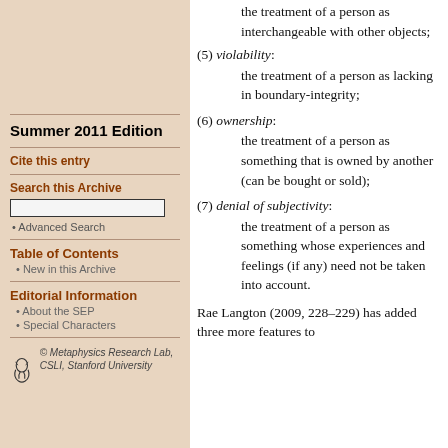Summer 2011 Edition
Cite this entry
Search this Archive
Advanced Search
Table of Contents
New in this Archive
Editorial Information
About the SEP
Special Characters
© Metaphysics Research Lab, CSLI, Stanford University
(5) violability: the treatment of a person as lacking in boundary-integrity;
(6) ownership: the treatment of a person as something that is owned by another (can be bought or sold);
(7) denial of subjectivity: the treatment of a person as something whose experiences and feelings (if any) need not be taken into account.
Rae Langton (2009, 228–229) has added three more features to